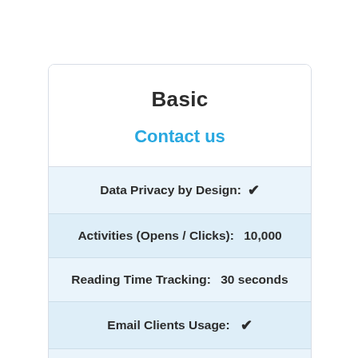Basic
Contact us
Data Privacy by Design: ✓
Activities (Opens / Clicks): 10,000
Reading Time Tracking: 30 seconds
Email Clients Usage: ✓
Link-Tracking & Heatmaps: ✓